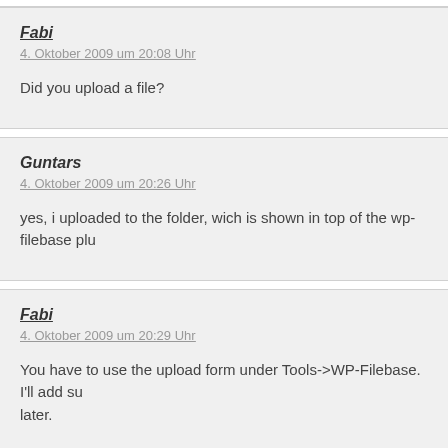Fabi
4. Oktober 2009 um 20:08 Uhr
Did you upload a file?
Guntars
4. Oktober 2009 um 20:26 Uhr
yes, i uploaded to the folder, wich is shown in top of the wp-filebase plu
Fabi
4. Oktober 2009 um 20:29 Uhr
You have to use the upload form under Tools->WP-Filebase. I'll add su later.